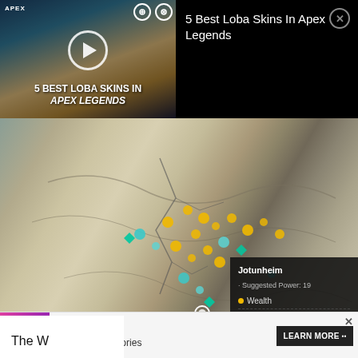[Figure (screenshot): Video thumbnail overlay showing '5 Best Loba Skins In Apex Legends' with play button, dark background, game artwork]
5 Best Loba Skins In Apex Legends
[Figure (screenshot): Leaked map of Jotunheim in Assassin's Creed Valhalla showing in-game map with wealth, mysteries, and artifacts markers, tooltip showing Jotunheim region info, POWERPYX / UBISOFT watermark, Legend and Reset controls at bottom]
Leaked map of Jotunheim in Assassin’s Creed Valhalla.
The W
[Figure (screenshot): Advertisement banner: Originals logo, Untold Influencer Stories, Learn More button]